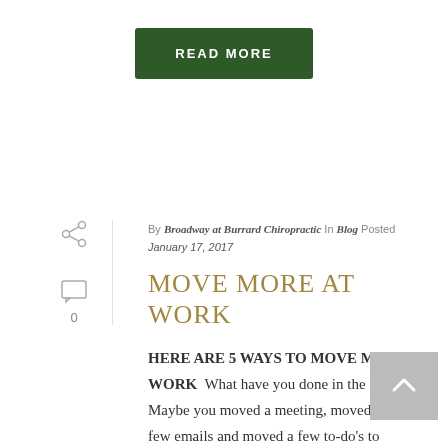[Figure (other): Green READ MORE button]
By Broadway at Burrard Chiropractic In Blog Posted January 17, 2017
MOVE MORE AT WORK
HERE ARE 5 WAYS TO MOVE MORE AT WORK  What have you done in the last hour? Maybe you moved a meeting, moved around a few emails and moved a few to-do's to someone else's plate. But [...]